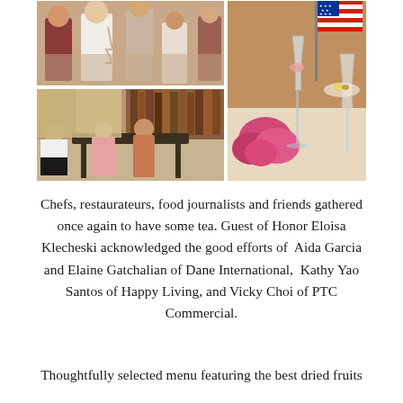[Figure (photo): Photo collage of a social gathering/tea party event. Top-left: people standing holding wine/champagne glasses at a reception. Bottom-left: guests seated and mingling at a library-style room with bookshelves. Right side (tall): close-up of wine glasses and an American flag centerpiece with pink flowers on a dining table.]
Chefs, restaurateurs, food journalists and friends gathered once again to have some tea. Guest of Honor Eloisa Klecheski acknowledged the good efforts of  Aida Garcia and Elaine Gatchalian of Dane International,  Kathy Yao Santos of Happy Living, and Vicky Choi of PTC Commercial.
Thoughtfully selected menu featuring the best dried fruits